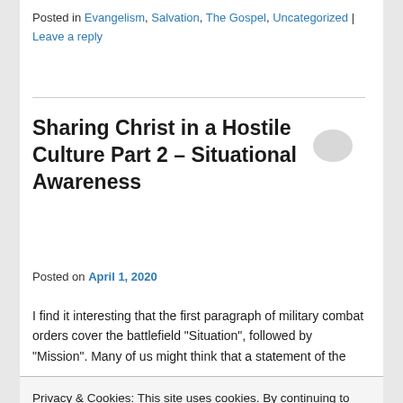Posted in Evangelism, Salvation, The Gospel, Uncategorized | Leave a reply
Sharing Christ in a Hostile Culture Part 2 – Situational Awareness
Posted on April 1, 2020
I find it interesting that the first paragraph of military combat orders cover the battlefield “Situation”, followed by “Mission”. Many of us might think that a statement of the
Privacy & Cookies: This site uses cookies. By continuing to use this website, you agree to their use.
To find out more, including how to control cookies, see here: Cookie Policy
Close and accept
strategic picture.  Total situational awareness is essential